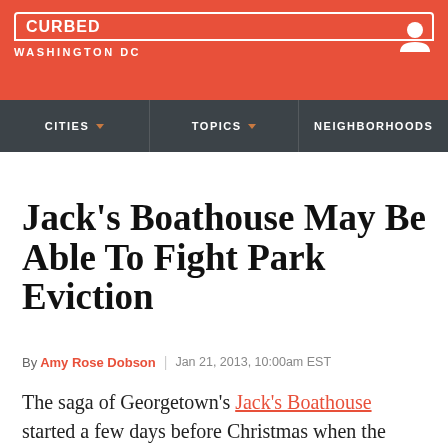CURBED WASHINGTON DC
CITIES  TOPICS  NEIGHBORHOODS
Jack's Boathouse May Be Able To Fight Park Eviction
By Amy Rose Dobson | Jan 21, 2013, 10:00am EST
The saga of Georgetown's Jack's Boathouse started a few days before Christmas when the owner, Paul Simkin, was informed by the National Park Service he had a month to